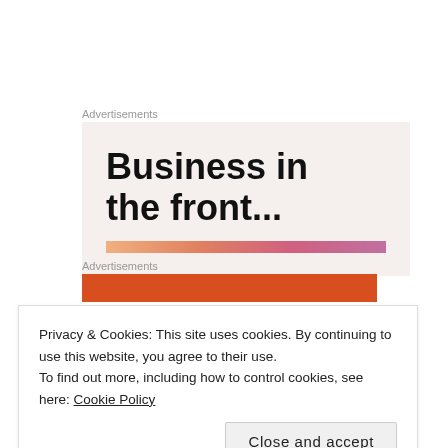Advertisements
[Figure (illustration): Advertisement banner with large bold text 'Business in the front...' on a light beige/cream background, with a colorful gradient stripe (peach to pink) at the bottom.]
Advertisements
[Figure (illustration): Advertisement banner with orange/red background, partially visible.]
Privacy & Cookies: This site uses cookies. By continuing to use this website, you agree to their use.
To find out more, including how to control cookies, see here: Cookie Policy
Close and accept